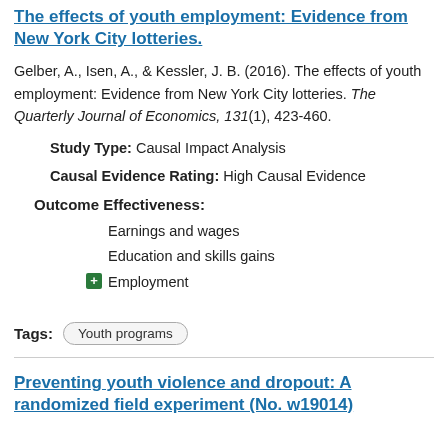The effects of youth employment: Evidence from New York City lotteries.
Gelber, A., Isen, A., & Kessler, J. B. (2016). The effects of youth employment: Evidence from New York City lotteries. The Quarterly Journal of Economics, 131(1), 423-460.
Study Type: Causal Impact Analysis
Causal Evidence Rating: High Causal Evidence
Outcome Effectiveness:
Earnings and wages
Education and skills gains
Employment
Tags: Youth programs
Preventing youth violence and dropout: A randomized field experiment (No. w19014)